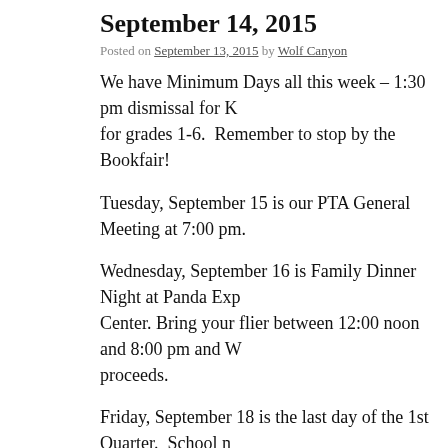September 14, 2015
Posted on September 13, 2015 by Wolf Canyon
We have Minimum Days all this week – 1:30 pm dismissal for K for grades 1-6.  Remember to stop by the Bookfair!
Tuesday, September 15 is our PTA General Meeting at 7:00 pm.
Wednesday, September 16 is Family Dinner Night at Panda Exp Center. Bring your flier between 12:00 noon and 8:00 pm and W proceeds.
Friday, September 18 is the last day of the 1st Quarter.  School n
The PTA Reflections Artist Contest is back. Categories include: Film Production, Literature, Music Composition, Visual Arts, ar theme is “Let Your Imagination Fly”. For more information ema entries are due by October 8.  All students who participate will r good for one assignment.